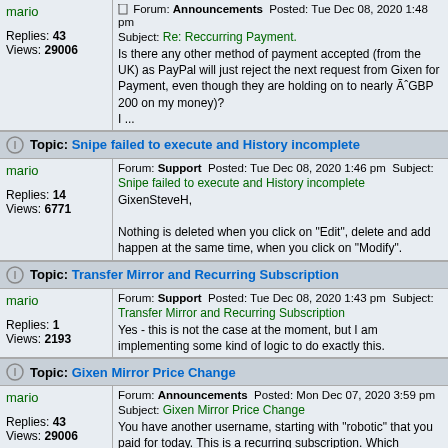mario | Replies: 43 | Views: 29006 | Forum: Announcements Posted: Tue Dec 08, 2020 1:48 pm Subject: Re: Reccurring Payment. Is there any other method of payment accepted (from the UK) as PayPal will just reject the next request from Gixen for Payment, even though they are holding on to nearly ÃGBP 200 on my money)? I ...
Topic: Snipe failed to execute and History incomplete
mario | Replies: 14 | Views: 6771 | Forum: Support Posted: Tue Dec 08, 2020 1:46 pm Subject: Snipe failed to execute and History incomplete GixenSteveH, Nothing is deleted when you click on "Edit", delete and add happen at the same time, when you click on "Modify".
Topic: Transfer Mirror and Recurring Subscription
mario | Replies: 1 | Views: 2193 | Forum: Support Posted: Tue Dec 08, 2020 1:43 pm Subject: Transfer Mirror and Recurring Subscription Yes - this is not the case at the moment, but I am implementing some kind of logic to do exactly this.
Topic: Gixen Mirror Price Change
mario | Replies: 43 | Views: 29006 | Forum: Announcements Posted: Mon Dec 07, 2020 3:59 pm Subject: Gixen Mirror Price Change You have another username, starting with "robotic" that you paid for today. This is a recurring subscription. Which username do you use?
Topic: Snipe failed to execute and History incomplete
mario | Forum: Support Posted: Mon Dec 07, 2020 3:56 pm Subject: Snipe failed to execute and History incomplete